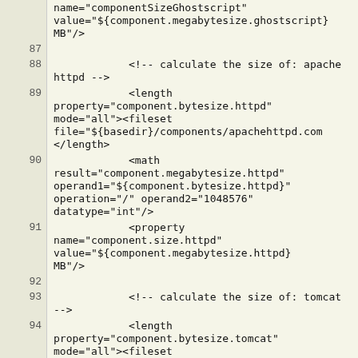[Figure (screenshot): Source code viewer showing XML/Ant build script lines 87-94, with line numbers on the left in a beige column and code on the right. Lines show XML tags for calculating component sizes (ghostscript, apache httpd, tomcat) using length, math, and property elements.]